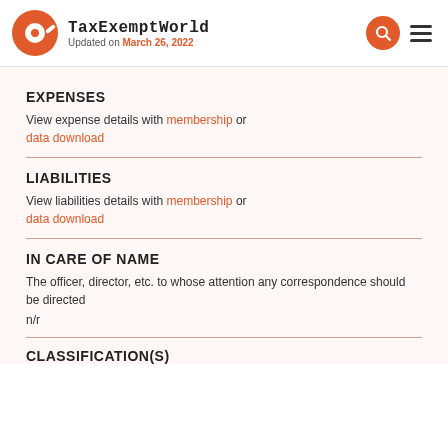TaxExemptWorld — Updated on March 26, 2022
EXPENSES
View expense details with membership or data download
LIABILITIES
View liabilities details with membership or data download
IN CARE OF NAME
The officer, director, etc. to whose attention any correspondence should be directed
n/r
CLASSIFICATION(S)